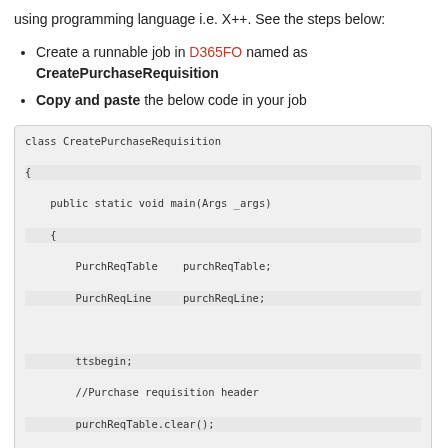using programming language i.e. X++. See the steps below:
Create a runnable job in D365FO named as CreatePurchaseRequisition
Copy and paste the below code in your job
[Figure (screenshot): Code block showing X++ class CreatePurchaseRequisition with main method, variable declarations, ttsbegin, purchase requisition header creation and line creation code]